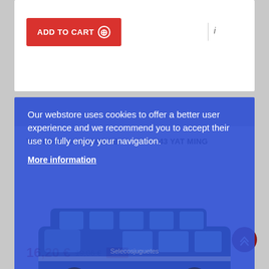ADD TO CART
VOLKSWAGEN MICROBUS 1962 1/43 YAT MING
Our webstore uses cookies to offer a better user experience and we recommend you to accept their use to fully enjoy your navigation.
More information
GESTIONAR COOKIES
I ACCEPT
16,20 € 19,06 € -15%
ADD TO CART